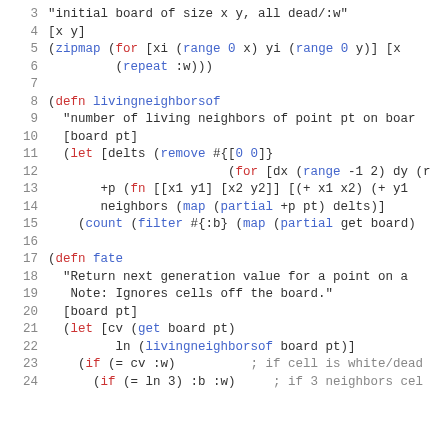Code listing: Clojure Game of Life implementation, lines 3-24
3    "initial board of size x y, all dead/:w"
4    [x y]
5    (zipmap (for [xi (range 0 x) yi (range 0 y)] [x
6             (repeat :w)))
7
8  (defn livingneighborsof
9    "number of living neighbors of point pt on boar
10   [board pt]
11   (let [delts (remove #{[0 0]}
12                        (for [dx (range -1 2) dy (r
13         +p (fn [[x1 y1] [x2 y2]] [(+ x1 x2) (+ y1
14         neighbors (map (partial +p pt) delts)]
15     (count (filter #{:b} (map (partial get board)
16
17  (defn fate
18    "Return next generation value for a point on a
19     Note: Ignores cells off the board."
20    [board pt]
21    (let [cv (get board pt)
22           ln (livingneighborsof board pt)]
23      (if (= cv :w)          ; if cell is white/dead
24        (if (= ln 3) :b :w)  ; if 3 neighbors cel